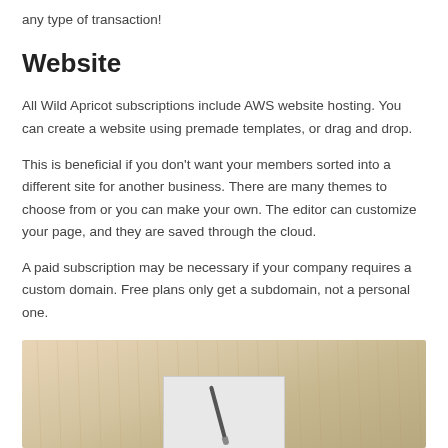any type of transaction!
Website
All Wild Apricot subscriptions include AWS website hosting. You can create a website using premade templates, or drag and drop.
This is beneficial if you don't want your members sorted into a different site for another business. There are many themes to choose from or you can make your own. The editor can customize your page, and they are saved through the cloud.
A paid subscription may be necessary if your company requires a custom domain. Free plans only get a subdomain, not a personal one.
[Figure (photo): Photo of a pen resting on a sheet of paper on a light wood surface]